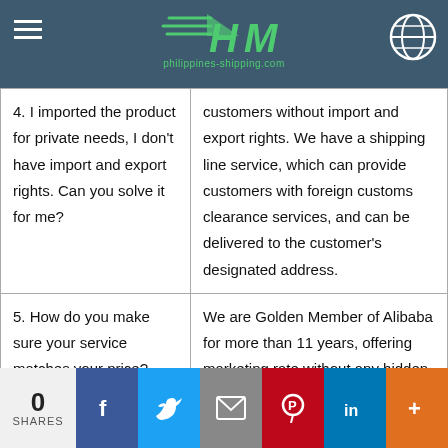philippines-shipping.com
| Question | Answer |
| --- | --- |
| 4. I imported the product for private needs, I don't have import and export rights. Can you solve it for me? | customers without import and export rights. We have a shipping line service, which can provide customers with foreign customs clearance services, and can be delivered to the customer's designated address. |
| 5. How do you make sure your service matches your price? | We are Golden Member of Alibaba for more than 11 years, offering marketing rate without any hidden fee. |
0 SHARES | Facebook | Twitter | Email | Pinterest | LinkedIn | More